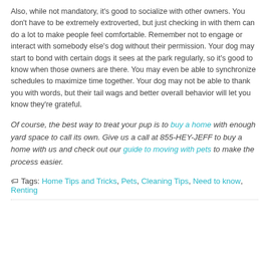Also, while not mandatory, it's good to socialize with other owners. You don't have to be extremely extroverted, but just checking in with them can do a lot to make people feel comfortable. Remember not to engage or interact with somebody else's dog without their permission. Your dog may start to bond with certain dogs it sees at the park regularly, so it's good to know when those owners are there. You may even be able to synchronize schedules to maximize time together. Your dog may not be able to thank you with words, but their tail wags and better overall behavior will let you know they're grateful.
Of course, the best way to treat your pup is to buy a home with enough yard space to call its own. Give us a call at 855-HEY-JEFF to buy a home with us and check out our guide to moving with pets to make the process easier.
Tags: Home Tips and Tricks, Pets, Cleaning Tips, Need to know, Renting